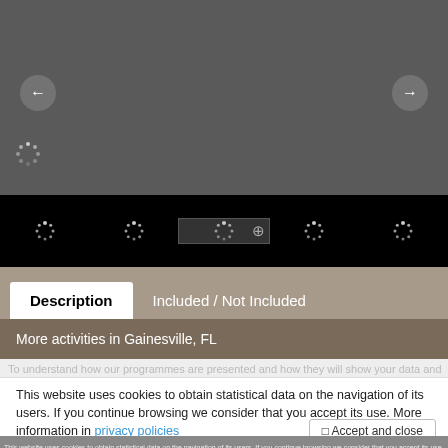[Figure (screenshot): Gray image slideshow area with left and right navigation arrows and a loading spinner icon in the lower left. Below is a black thumbnail strip with loading spinner icons and a plus/expand button on the selected thumbnail.]
Description    Included / Not Included
More activities in Gainesville, FL
This website uses cookies to obtain statistical data on the navigation of its users. If you continue browsing we consider that you accept its use. More information in privacy policies
☐ Accept and close